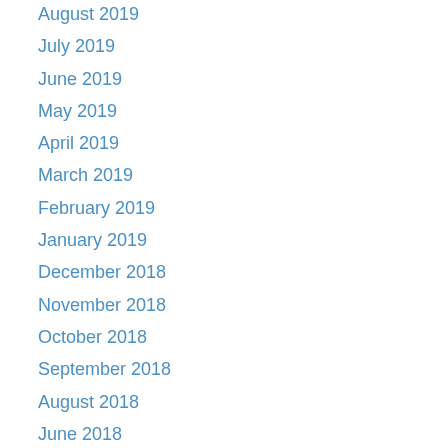August 2019
July 2019
June 2019
May 2019
April 2019
March 2019
February 2019
January 2019
December 2018
November 2018
October 2018
September 2018
August 2018
June 2018
March 2018
January 2018
December 2017
November 2017
October 2017
September 2017